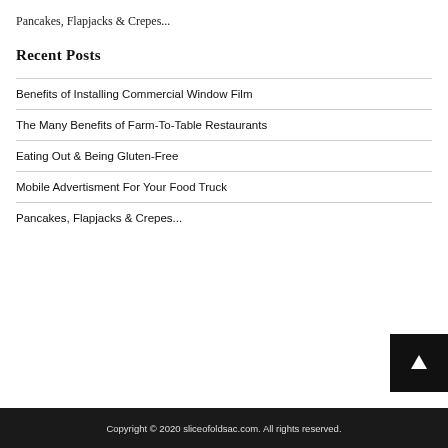Pancakes, Flapjacks & Crepes...
Recent Posts
Benefits of Installing Commercial Window Film
The Many Benefits of Farm-To-Table Restaurants
Eating Out & Being Gluten-Free
Mobile Advertisment For Your Food Truck
Pancakes, Flapjacks & Crepes...
Copyright © 2020 sliceofoldsac.com. All rights reserved.